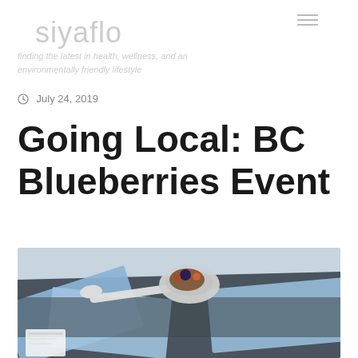siyaflo
finding the latest in health, wellness, and an environmentally friendly lifestyle
July 24, 2019
Going Local: BC Blueberries Event
[Figure (photo): A dark table with light blue napkins and a small bowl of blueberries with a spoon, styled food photography from above at an angle]